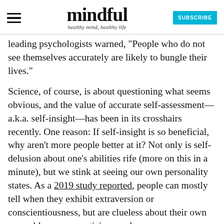mindful — healthy mind, healthy life — SUBSCRIBE
leading psychologists warned, "People who do not see themselves accurately are likely to bungle their lives."
Science, of course, is about questioning what seems obvious, and the value of accurate self-assessment—a.k.a. self-insight—has been in its crosshairs recently. One reason: If self-insight is so beneficial, why aren't more people better at it? Not only is self-delusion about one's abilities rife (more on this in a minute), but we stink at seeing our own personality states. As a 2019 study reported, people can mostly tell when they exhibit extraversion or conscientiousness, but are clueless about their own agreeableness, neuroticism, and